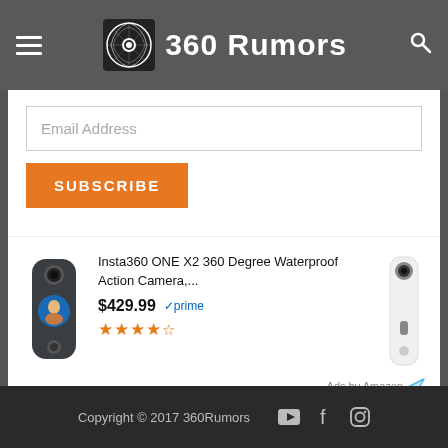360 Rumors
Email Address
SUBSCRIBE
[Figure (screenshot): Amazon ad showing Insta360 ONE X2 360 Degree Waterproof Action Camera with price $429.99, Amazon Prime badge, star rating, and a second camera image on the right.]
Copyright © 2017 360Rumors